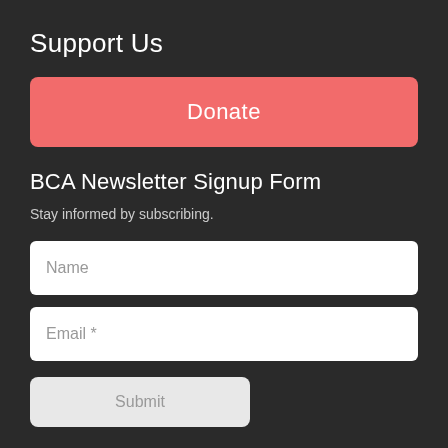Support Us
[Figure (other): A coral/salmon colored Donate button with rounded corners on a dark background]
BCA Newsletter Signup Form
Stay informed by subscribing.
[Figure (other): Newsletter signup form with Name input field, Email required input field, and a Submit button on dark background]